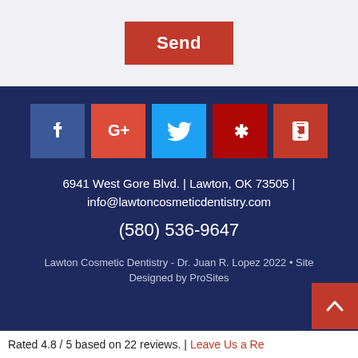Send
[Figure (infographic): Social media icons row: Facebook (blue), Google+ (red-orange), Twitter (blue), Yelp (dark red), Phone (red)]
6941 West Gore Blvd. | Lawton, OK 73505 | info@lawtoncosmeticdentistry.com
(580) 536-9647
Lawton Cosmetic Dentistry - Dr. Juan R. Lopez 2022 • Site Designed by ProSites
Rated 4.8 / 5 based on 22 reviews. | Leave Us a Re